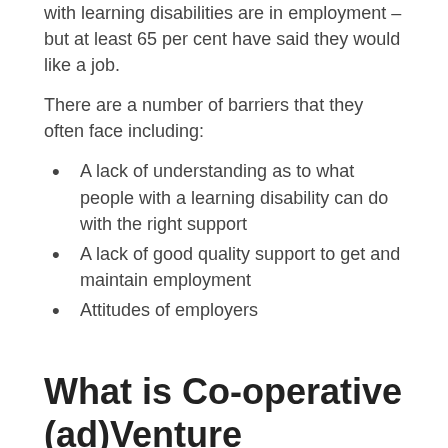with learning disabilities are in employment – but at least 65 per cent have said they would like a job.
There are a number of barriers that they often face including:
A lack of understanding as to what people with a learning disability can do with the right support
A lack of good quality support to get and maintain employment
Attitudes of employers
What is Co-operative (ad)Venture Bradford?
Build Confidence. Learn new skills. Make new friends.